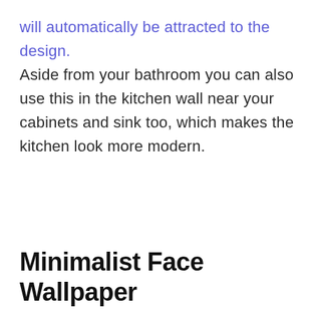will automatically be attracted to the design. Aside from your bathroom you can also use this in the kitchen wall near your cabinets and sink too, which makes the kitchen look more modern.
Minimalist Face Wallpaper